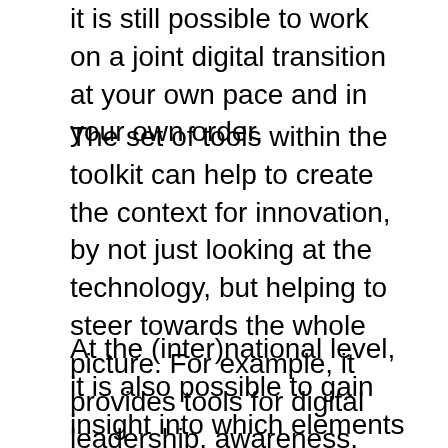it is still possible to work on a joint digital transition at your own pace and in your own order.
The set of tools within the toolkit can help to create the context for innovation, by not just looking at the technology, but helping to steer towards the whole picture. For example, it provides tools for digital leadership, awareness, system incentives, legislation, principles, etc. This broad approach requires a multidisciplinary approach with various (internal) stakeholders, with which use of the tool supports the change management process for the digital transition.
At the (inter)national level, it is also possible to gain insight into which elements are still poorly developed and/or high on the list of priorities, so that cooperation and support (such as expertise, funding, etc.) can be organized in a targeted manner. The Digital Services for Europe toolkit is thus potentially not only a tool for